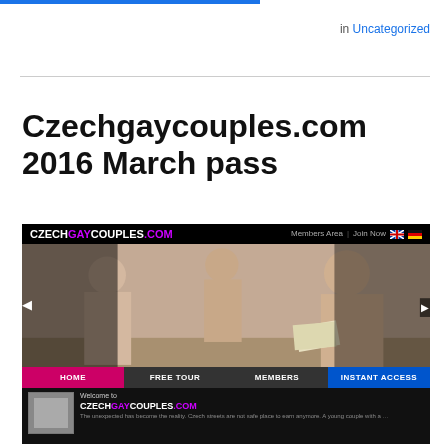in Uncategorized
Czechgaycouples.com 2016 March pass
[Figure (screenshot): Screenshot of czechgaycouples.com website showing navigation bar with HOME, FREE TOUR, MEMBERS, INSTANT ACCESS buttons and website content]